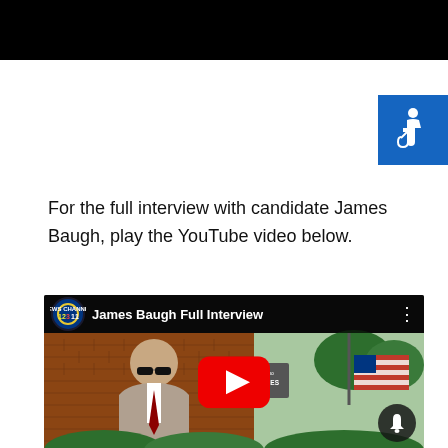[Figure (screenshot): Black navigation/header bar at the top of the page]
[Figure (illustration): Blue square with white wheelchair accessibility icon in the top right corner]
For the full interview with candidate James Baugh, play the YouTube video below.
[Figure (screenshot): YouTube video thumbnail showing James Baugh Full Interview. A man in a suit and sunglasses stands in front of a brick building with a Veterans Services sign. There is a YouTube play button overlay and a news channel logo (12, 3, 11) in the top left.]